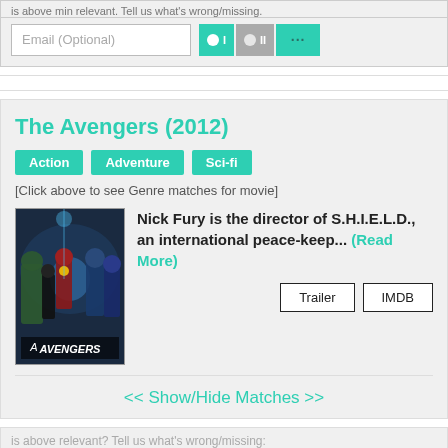is above min relevant. Tell us what's wrong/missing:
Email (Optional)
The Avengers (2012)
Action
Adventure
Sci-fi
[Click above to see Genre matches for movie]
Nick Fury is the director of S.H.I.E.L.D., an international peace-keep... (Read More)
Trailer   IMDB
<< Show/Hide Matches >>
is above relevant? Tell us what's wrong/missing: